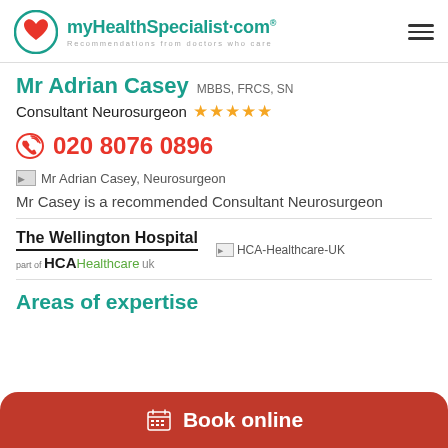myHealthSpecialist.com — Recommendations from doctors who care
Mr Adrian Casey MBBS, FRCS, SN
Consultant Neurosurgeon ★★★★★
020 8076 0896
[Figure (photo): Mr Adrian Casey, Neurosurgeon]
Mr Casey is a recommended Consultant Neurosurgeon
[Figure (logo): The Wellington Hospital part of HCA Healthcare UK]
[Figure (logo): HCA-Healthcare-UK]
Areas of expertise
Book online